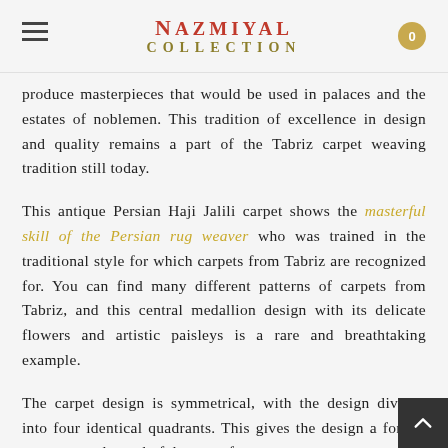NAZMIYAL COLLECTION
produce masterpieces that would be used in palaces and the estates of noblemen. This tradition of excellence in design and quality remains a part of the Tabriz carpet weaving tradition still today.
This antique Persian Haji Jalili carpet shows the masterful skill of the Persian rug weaver who was trained in the traditional style for which carpets from Tabriz are recognized for. You can find many different patterns of carpets from Tabriz, and this central medallion design with its delicate flowers and artistic paisleys is a rare and breathtaking example.
The carpet design is symmetrical, with the design divided into four identical quadrants. This gives the design a formal structure and wonderful sense of